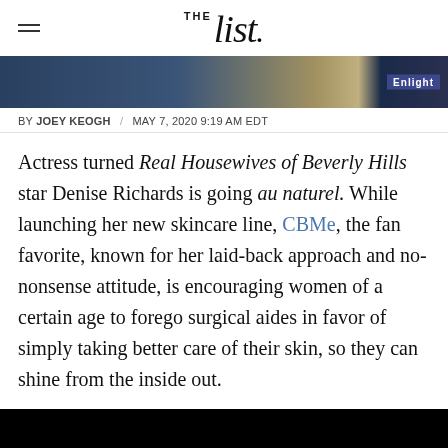THE list.
[Figure (photo): Partial photo of a blonde woman, darkened/cropped at top of page]
BY JOEY KEOGH / MAY 7, 2020 9:19 AM EDT
Actress turned Real Housewives of Beverly Hills star Denise Richards is going au naturel. While launching her new skincare line, CBMe, the fan favorite, known for her laid-back approach and no-nonsense attitude, is encouraging women of a certain age to forego surgical aides in favor of simply taking better care of their skin, so they can shine from the inside out.
[Figure (photo): Dark/black image at bottom of page, partially visible]